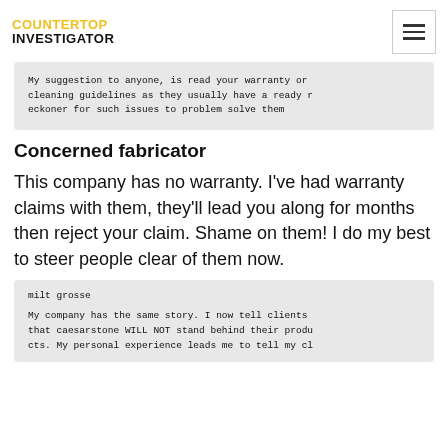COUNTERTOP INVESTIGATOR
My suggestion to anyone, is read your warranty or cleaning guidelines as they usually have a ready reckoner for such issues to problem solve them
Concerned fabricator
This company has no warranty. I've had warranty claims with them, they'll lead you along for months then reject your claim. Shame on them! I do my best to steer people clear of them now.
milt grosse

My company has the same story. I now tell clients that caesarstone WILL NOT stand behind their products. My personal experience leads me to tell my cl